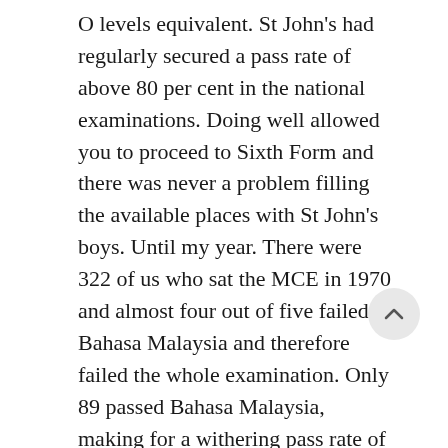O levels equivalent. St John's had regularly secured a pass rate of above 80 per cent in the national examinations. Doing well allowed you to proceed to Sixth Form and there was never a problem filling the available places with St John's boys. Until my year. There were 322 of us who sat the MCE in 1970 and almost four out of five failed Bahasa Malaysia and therefore failed the whole examination. Only 89 passed Bahasa Malaysia, making for a withering pass rate of 22 per cent. If not for the new rule, the Class of 1970 would have scored 85 per cent passes.
There was no explaining how barely one in five, myself included, passed. Too many of the best boys failed the MCE despite obtaining several distinctions in other subjects, and had to leave St John's bewildered and bitterly disappointed. They could repeat the examination, start working or